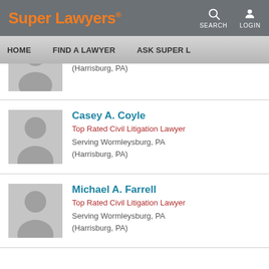Super Lawyers · SEARCH LOGIN
HOME   FIND A LAWYER   ASK SUPER L
(Harrisburg, PA)
Casey A. Coyle
Top Rated Civil Litigation Lawyer
Serving Wormleysburg, PA
(Harrisburg, PA)
Michael A. Farrell
Top Rated Civil Litigation Lawyer
Serving Wormleysburg, PA
(Harrisburg, PA)